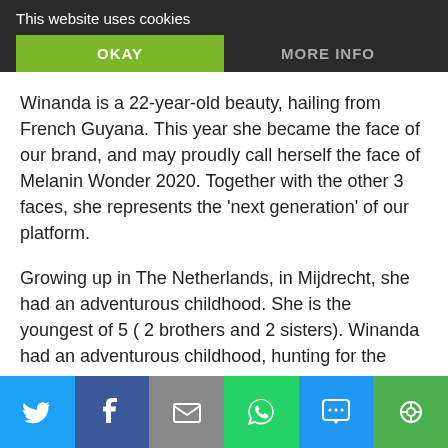This website uses cookies
Winanda is a 22-year-old beauty, hailing from French Guyana. This year she became the face of our brand, and may proudly call herself the face of Melanin Wonder 2020. Together with the other 3 faces, she represents the 'next generation' of our platform.
Growing up in The Netherlands, in Mijdrecht, she had an adventurous childhood. She is the youngest of 5 ( 2 brothers and 2 sisters). Winanda had an adventurous childhood, hunting for the thrills of life..you could say she was a little rebel. Her mom focused on bringing her kids on the right track. So Winanda had 2 choices, be a kid on
[Figure (infographic): Social share bar with Twitter, Facebook, Email, WhatsApp, SMS, and share icons]